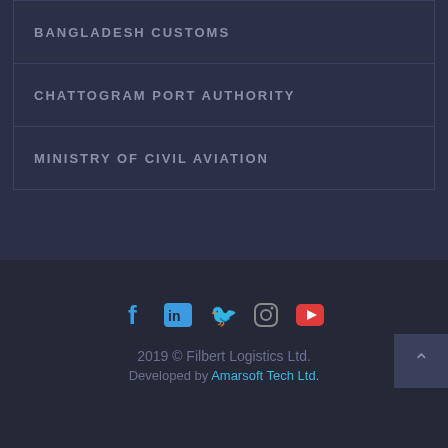BANGLADESH CUSTOMS
CHATTOGRAM PORT AUTHORITY
MINISTRY OF CIVIL AVIATION
[Figure (infographic): Social media icons: Facebook, LinkedIn, Twitter, Instagram, YouTube]
2019 © Filbert Logistics Ltd.